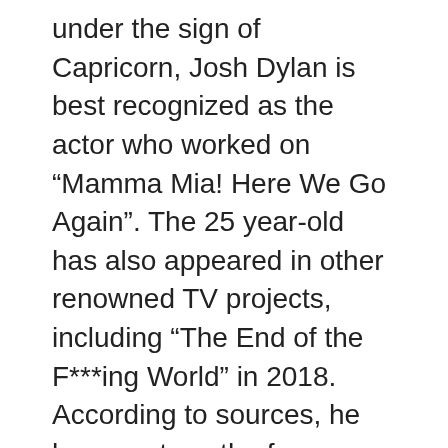under the sign of Capricorn, Josh Dylan is best recognized as the actor who worked on “Mamma Mia! Here We Go Again”. The 25 year-old has also appeared in other renowned TV projects, including “The End of the F***ing World” in 2018. According to sources, he has a net worth of over $500,000.
Just a simple reminder that article is created and owned only by biographypedia.org. Article cannot be re-published in any other pages or documents. Copyright is protected by DMCA. All found copies will be reported. Original source: https://biographypedia.org/who-is-josh-